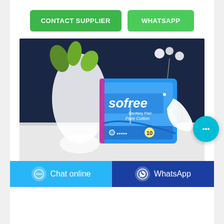[Figure (screenshot): Two green buttons: 'CONTACT SUPPLIER' and 'WHATSAPP']
[Figure (photo): Product photo of Sofree Sanitary Pad Pure Cotton package (10 pads) in blue packaging, on a white surface with white vase and dark blue background]
Trademark Classes List -
[Figure (screenshot): Bottom chat bar with 'Chat online' button (light blue) and 'WhatsApp' button (dark blue), plus cyan floating chat bubble button]